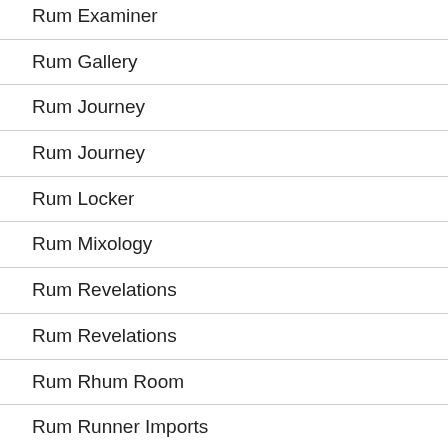Rum Examiner
Rum Gallery
Rum Journey
Rum Journey
Rum Locker
Rum Mixology
Rum Revelations
Rum Revelations
Rum Rhum Room
Rum Runner Imports
Rum Shop Boy
Rum Ti…